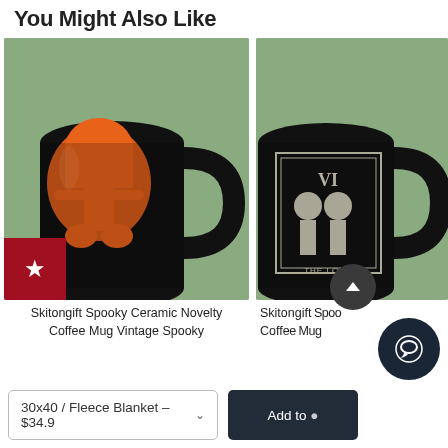You Might Also Like
[Figure (photo): Black ceramic coffee mug with orange vintage spooky Halloween pumpkin skeleton design on sage green background]
Skitongift Spooky Ceramic Novelty Coffee Mug Vintage Spooky
[Figure (photo): Black ceramic coffee mug with skeleton lovers tarot card 'The Lovers VI' design on sage green background, partially cropped]
Skitongift Spoo Coffee Mug
30x40 / Fleece Blanket - $34.9
Add to